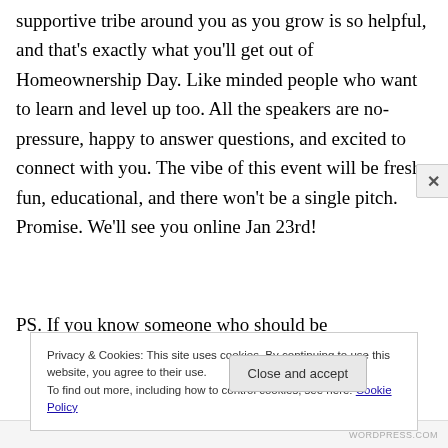supportive tribe around you as you grow is so helpful, and that's exactly what you'll get out of Homeownership Day. Like minded people who want to learn and level up too. All the speakers are no-pressure, happy to answer questions, and excited to connect with you. The vibe of this event will be fresh, fun, educational, and there won't be a single pitch. Promise. We'll see you online Jan 23rd!
PS. If you know someone who should be
Privacy & Cookies: This site uses cookies. By continuing to use this website, you agree to their use.
To find out more, including how to control cookies, see here: Cookie Policy